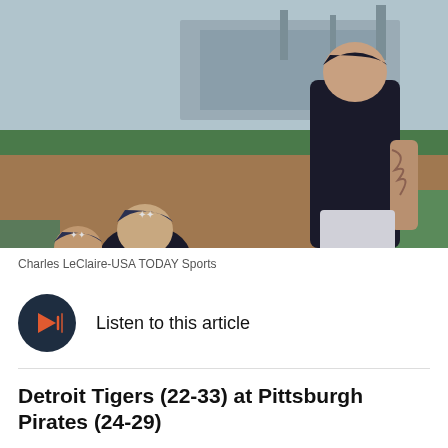[Figure (photo): A baseball player in a dark Detroit Tigers uniform signing autographs for young fans at a ballpark. Children wearing navy caps with stars are reaching toward the player. A stadium with green bleachers is visible in the background.]
Charles LeClaire-USA TODAY Sports
Listen to this article
Detroit Tigers (22-33) at Pittsburgh Pirates (24-29)